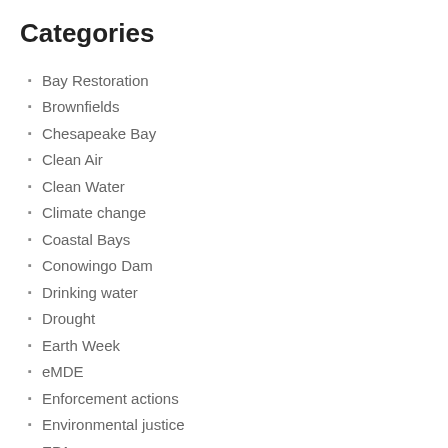Categories
Bay Restoration
Brownfields
Chesapeake Bay
Clean Air
Clean Water
Climate change
Coastal Bays
Conowingo Dam
Drinking water
Drought
Earth Week
eMDE
Enforcement actions
Environmental justice
EPA